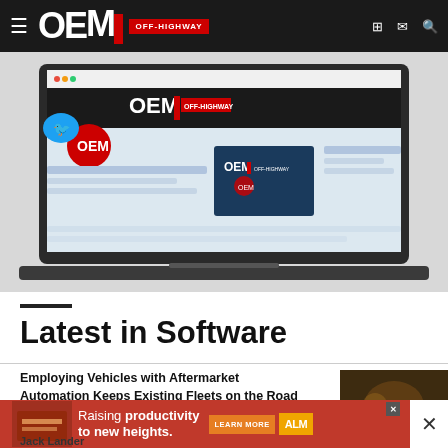OEM OFF-HIGHWAY
[Figure (screenshot): Screenshot of OEM Off-Highway Twitter/social media profile page shown on a laptop mockup, with Twitter bird logo visible]
Latest in Software
Employing Vehicles with Aftermarket Automation Keeps Existing Fleets on the Road
August 16, ...
[Figure (photo): Thumbnail image of industrial/mechanical equipment]
[Figure (infographic): Advertisement banner: Raising productivity to new heights. LEARN MORE. ALM POSITIONERS.]
Jack Lander...